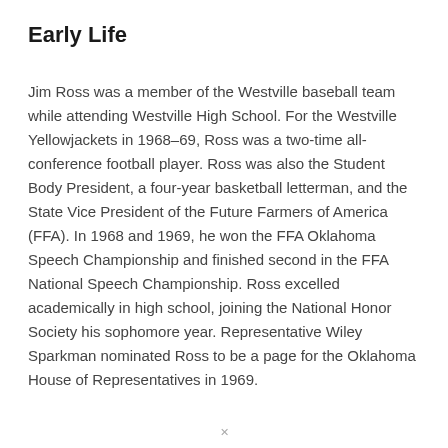Early Life
Jim Ross was a member of the Westville baseball team while attending Westville High School. For the Westville Yellowjackets in 1968–69, Ross was a two-time all-conference football player. Ross was also the Student Body President, a four-year basketball letterman, and the State Vice President of the Future Farmers of America (FFA). In 1968 and 1969, he won the FFA Oklahoma Speech Championship and finished second in the FFA National Speech Championship. Ross excelled academically in high school, joining the National Honor Society his sophomore year. Representative Wiley Sparkman nominated Ross to be a page for the Oklahoma House of Representatives in 1969.